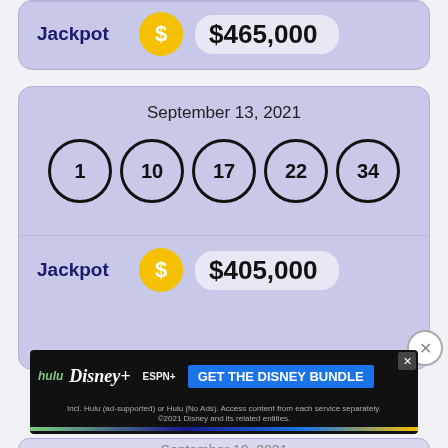Jackpot  $465,000
September 13, 2021
[Figure (other): Lottery balls showing numbers 1, 10, 17, 22, 34 in circles]
Jackpot  $405,000
[Figure (other): Advertisement banner: hulu Disney+ ESPN+ GET THE DISNEY BUNDLE. Incl. Hulu (ad-supported) or Hulu (No Ads). Access content from each service separately. ©2021 Disney and its related entities.]
September 10, 2021